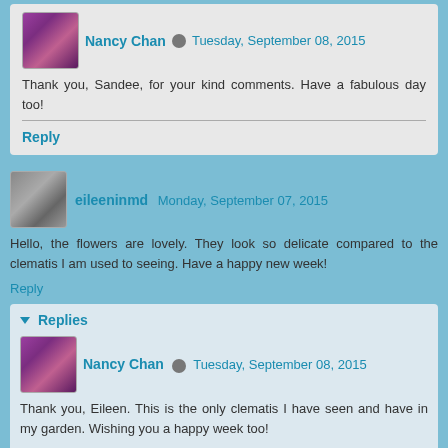Nancy Chan  Tuesday, September 08, 2015
Thank you, Sandee, for your kind comments. Have a fabulous day too!
Reply
eileeninmd  Monday, September 07, 2015
Hello, the flowers are lovely. They look so delicate compared to the clematis I am used to seeing. Have a happy new week!
Reply
Replies
Nancy Chan  Tuesday, September 08, 2015
Thank you, Eileen. This is the only clematis I have seen and have in my garden. Wishing you a happy week too!